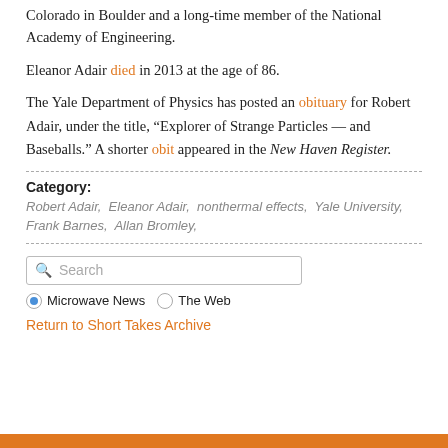Colorado in Boulder and a long-time member of the National Academy of Engineering.
Eleanor Adair died in 2013 at the age of 86.
The Yale Department of Physics has posted an obituary for Robert Adair, under the title, “Explorer of Strange Particles — and Baseballs.” A shorter obit appeared in the New Haven Register.
Category:
Robert Adair,  Eleanor Adair,  nonthermal effects,  Yale University,  Frank Barnes,  Allan Bromley,
[Figure (other): Search box with placeholder text 'Search']
Microwave News  The Web
Return to Short Takes Archive